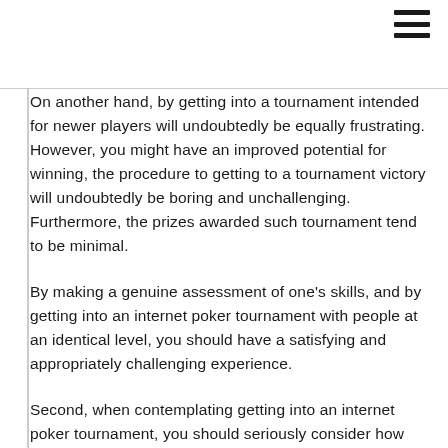[Figure (other): Hamburger menu icon — three horizontal lines in top right corner]
On another hand, by getting into a tournament intended for newer players will undoubtedly be equally frustrating. However, you might have an improved potential for winning, the procedure to getting to a tournament victory will undoubtedly be boring and unchallenging. Furthermore, the prizes awarded such tournament tend to be minimal.
By making a genuine assessment of one's skills, and by getting into an internet poker tournament with people at an identical level, you should have a satisfying and appropriately challenging experience.
Second, when contemplating getting into an internet poker tournament, you should seriously consider how much cash you wish to placed on the line, how much cash you would like to pay to take part in this type of tournament.